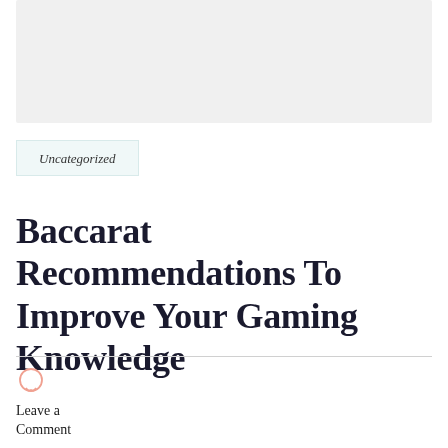[Figure (other): Gray placeholder image box at the top of the page]
Uncategorized
Baccarat Recommendations To Improve Your Gaming Knowledge
Leave a Comment